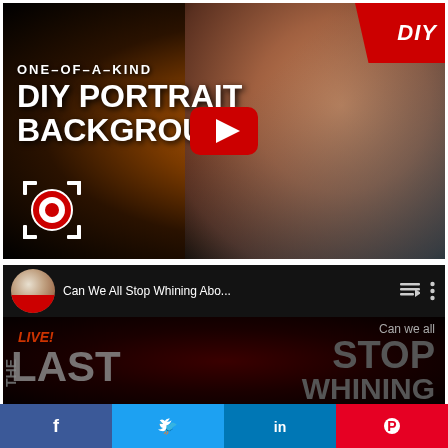[Figure (screenshot): YouTube video thumbnail for 'One-of-a-Kind DIY Portrait Background' showing a woman with curly hair on a dark bokeh background, with a red DIY badge top-right, white bold text overlay, YouTube play button, and a target logo bottom-left.]
[Figure (screenshot): Embedded YouTube player showing 'Can We All Stop Whining Abo...' with avatar, playlist icon, three-dot menu, and video thumbnail showing 'LIVE! THE LAST [FRAME]' and 'Can we all STOP WHINING' text on dark background.]
[Figure (infographic): Social sharing bar at bottom with Facebook (blue), Twitter (light blue), LinkedIn (dark blue), and Pinterest (red) buttons with icons.]